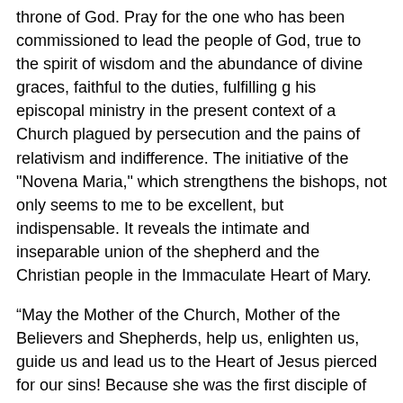throne of God. Pray for the one who has been commissioned to lead the people of God, true to the spirit of wisdom and the abundance of divine graces, faithful to the duties, fulfilling his episcopal ministry in the present context of a Church plagued by persecution and the pains of relativism and indifference. The initiative of the "Novena Maria," which strengthens the bishops, not only seems to me to be excellent, but indispensable. It reveals the intimate and inseparable union of the shepherd and the Christian people in the Immaculate Heart of Mary.
“May the Mother of the Church, Mother of the Believers and Shepherds, help us, enlighten us, guide us and lead us to the Heart of Jesus pierced for our sins! Because she was the first disciple of our Redeemer, the Virgin Mary, Redemptoris Mater - the Mother of the Redeemer - teaches us in the meditative prayer of the Rosary to listen to Him and trust Him despite all obstacles. She teaches us to pray to Jesus, her beloved Son, gradually to enter into His familiarity and to fully love and serve Him humbly.
“I wholeheartedly bless this initiative in trusting Our Lady,